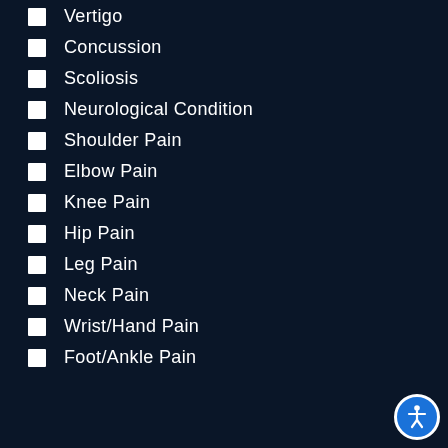Vertigo
Concussion
Scoliosis
Neurological Condition
Shoulder Pain
Elbow Pain
Knee Pain
Hip Pain
Leg Pain
Neck Pain
Wrist/Hand Pain
Foot/Ankle Pain